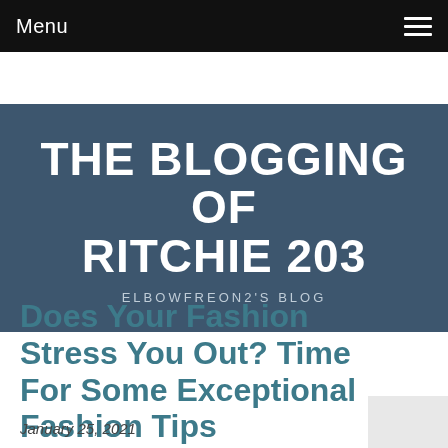Menu
THE BLOGGING OF RITCHIE 203
ELBOWFREON2'S BLOG
Does Your Fashion Stress You Out? Time For Some Exceptional Fashion Tips
January 25, 2021